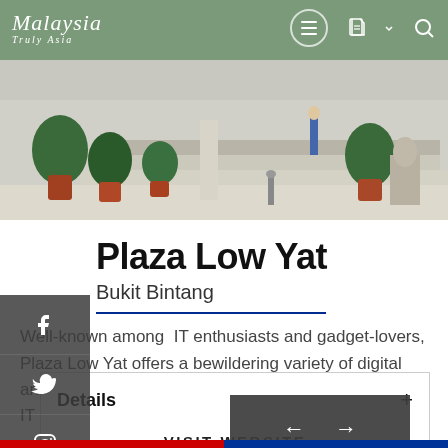[Figure (photo): Hero photo of a plaza/courtyard area with potted tropical plants and stone/marble steps, people walking in background]
Malaysia Truly Asia — navigation bar with hamburger menu, document icon, and search icon
Plaza Low Yat
Bukit Bintang
Well-known among IT enthusiasts and gadget-lovers, Plaza Low Yat offers a bewildering variety of digital and electronic goods. It was named 'Malaysia's largest IT Lifestyle Mall' in 2009.
Details
VISIT WEBSITE